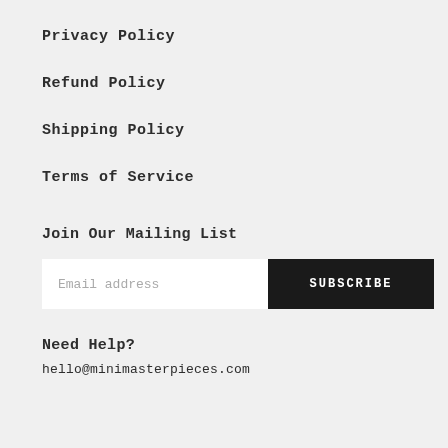Privacy Policy
Refund Policy
Shipping Policy
Terms of Service
Join Our Mailing List
Email address  SUBSCRIBE
Need Help?
hello@minimasterpieces.com